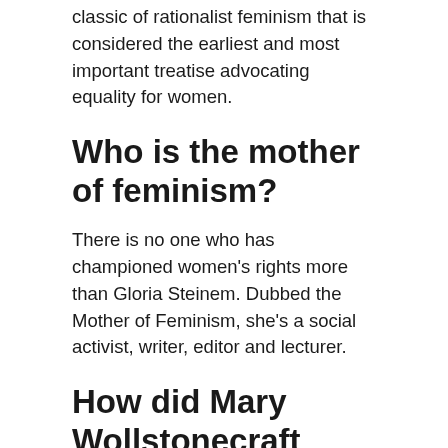classic of rationalist feminism that is considered the earliest and most important treatise advocating equality for women.
Who is the mother of feminism?
There is no one who has championed women’s rights more than Gloria Steinem. Dubbed the Mother of Feminism, she’s a social activist, writer, editor and lecturer.
How did Mary Wollstonecraft impact the world today?
In Vindication of the Rights of Women, she argued for all people, no matter their ethnicity, to “be allowed their birthright…